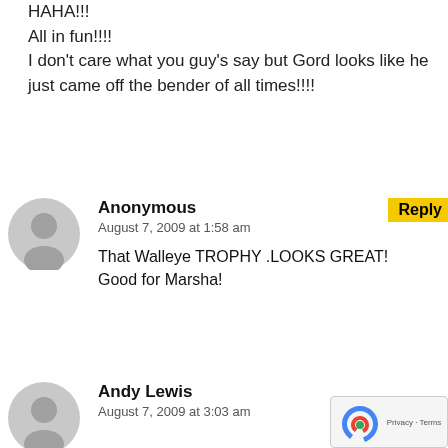HAHA!!!
All in fun!!!!
I don't care what you guy's say but Gord looks like he just came off the bender of all times!!!!
[Figure (illustration): Grey silhouette avatar icon for Anonymous commenter]
Anonymous
August 7, 2009 at 1:58 am
Reply
That Walleye TROPHY .LOOKS GREAT!
Good for Marsha!
[Figure (illustration): Grey silhouette avatar icon for Andy Lewis commenter]
Andy Lewis
August 7, 2009 at 3:03 am